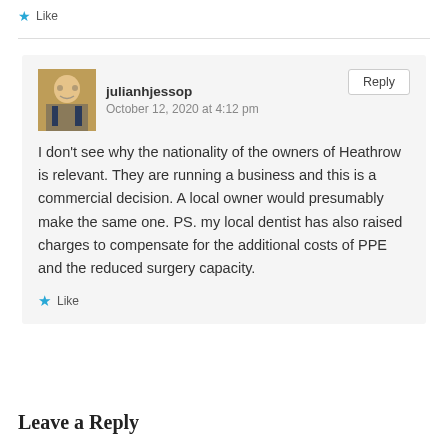★ Like
julianhjessop
October 12, 2020 at 4:12 pm
Reply
I don't see why the nationality of the owners of Heathrow is relevant. They are running a business and this is a commercial decision. A local owner would presumably make the same one. PS. my local dentist has also raised charges to compensate for the additional costs of PPE and the reduced surgery capacity.
★ Like
Leave a Reply